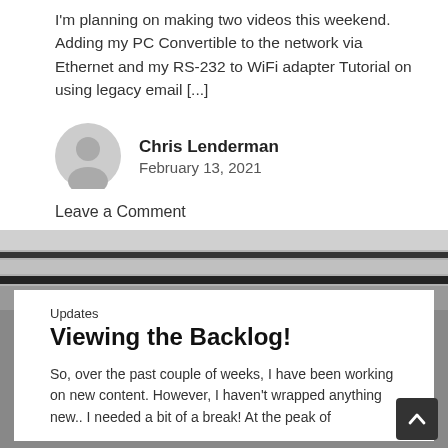I'm planning on making two videos this weekend. Adding my PC Convertible to the network via Ethernet and my RS-232 to WiFi adapter Tutorial on using legacy email [...]
Chris Lenderman
February 13, 2021
Leave a Comment
[Figure (photo): Background photo of shelving/hardware equipment]
Updates
Viewing the Backlog!
So, over the past couple of weeks, I have been working on new content. However, I haven't wrapped anything new.. I needed a bit of a break! At the peak of